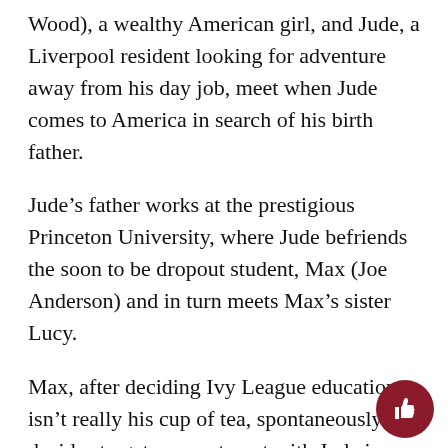Wood), a wealthy American girl, and Jude, a Liverpool resident looking for adventure away from his day job, meet when Jude comes to America in search of his birth father.
Jude's father works at the prestigious Princeton University, where Jude befriends the soon to be dropout student, Max (Joe Anderson) and in turn meets Max's sister Lucy.
Max, after deciding Ivy League education isn't really his cup of tea, spontaneously decides to get an apartment with Jude in New York. They share rent with bohemian singer Sadie (Dana Fuchs), soulful guitarist Jo-Jo (Martin Luther McCoy), and free-spirited lesbian Ohio cheerleader Prudence (T.V. Carpio).
Lucy, affected by casualties in the war, also lives with the group in New York. Jude decides this is the perfect